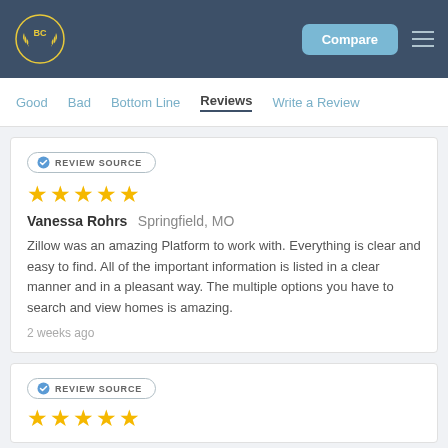BC logo | Compare | menu
Good   Bad   Bottom Line   Reviews   Write a Review
REVIEW SOURCE
★★★★★
Vanessa Rohrs  Springfield, MO
Zillow was an amazing Platform to work with. Everything is clear and easy to find. All of the important information is listed in a clear manner and in a pleasant way. The multiple options you have to search and view homes is amazing.
2 weeks ago
REVIEW SOURCE
★★★★★